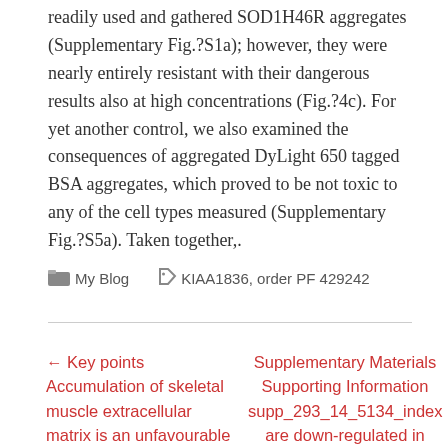readily used and gathered SOD1H46R aggregates (Supplementary Fig.?S1a); however, they were nearly entirely resistant with their dangerous results also at high concentrations (Fig.?4c). For yet another control, we also examined the consequences of aggregated DyLight 650 tagged BSA aggregates, which proved to be not toxic to any of the cell types measured (Supplementary Fig.?S5a). Taken together,.
My Blog   KIAA1836, order PF 429242
← Key points Accumulation of skeletal muscle extracellular matrix is an unfavourable
Supplementary Materials Supporting Information supp_293_14_5134_index are down-regulated in